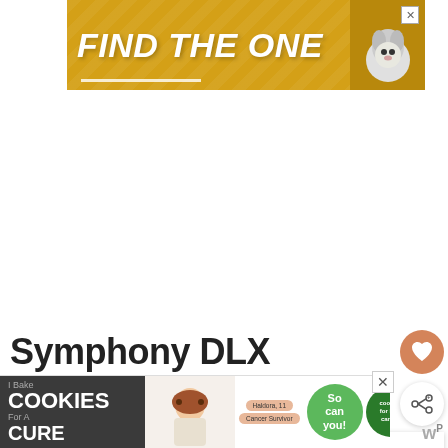[Figure (infographic): Yellow/gold advertisement banner reading FIND THE ONE with a dog image on the right side and a close button]
[Figure (infographic): Heart/favorite button (orange circle with heart icon) on right side of page]
[Figure (infographic): Share button (white circle with share icon) on right side of page]
[Figure (infographic): Whats Next recommendation box showing Evenflo Chase Vs Maestro article thumbnail and text]
Symphony DLX
[Figure (infographic): Bottom banner ad for I Bake Cookies For A Cure with Haldora cancer survivor, cookies for kids cancer logo, So can you text circle, and close buttons]